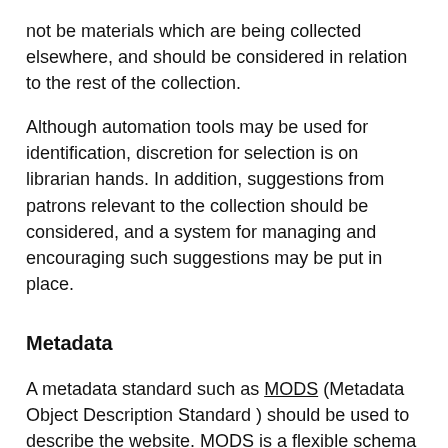not be materials which are being collected elsewhere, and should be considered in relation to the rest of the collection.
Although automation tools may be used for identification, discretion for selection is on librarian hands. In addition, suggestions from patrons relevant to the collection should be considered, and a system for managing and encouraging such suggestions may be put in place.
Metadata
A metadata standard such as MODS (Metadata Object Description Standard) should be used to describe the website. MODS is a flexible schema expressed in XML, is fairly compatiable with library records, and allows more complex metadata than Dublin Core and thus may work